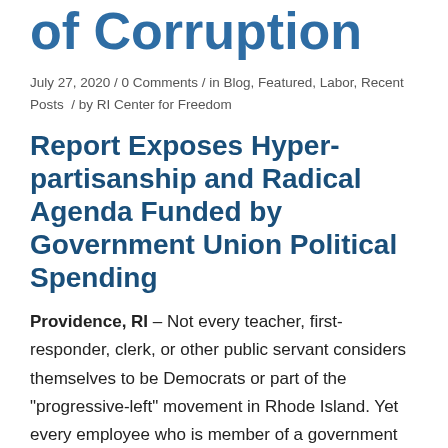of Corruption
July 27, 2020 / 0 Comments / in Blog, Featured, Labor, Recent Posts / by RI Center for Freedom
Report Exposes Hyper-partisanship and Radical Agenda Funded by Government Union Political Spending
Providence, RI – Not every teacher, first-responder, clerk, or other public servant considers themselves to be Democrats or part of the "progressive-left" movement in Rhode Island. Yet every employee who is member of a government union in our state is paying dues that directly support this extreme political agenda … along with